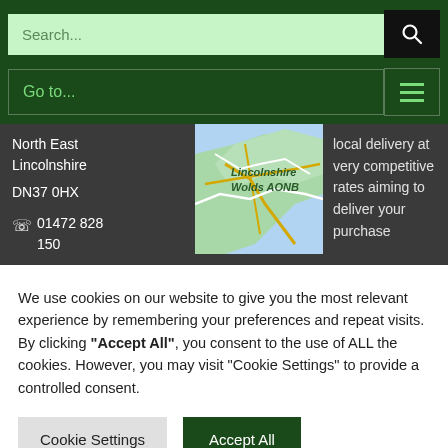Search...
Go to...
North East Lincolnshire DN37 0HX 01472 828 150
[Figure (map): Map showing Lincolnshire Wolds AONB area]
local delivery at very competitive rates aiming to deliver your purchase
We use cookies on our website to give you the most relevant experience by remembering your preferences and repeat visits. By clicking "Accept All", you consent to the use of ALL the cookies. However, you may visit "Cookie Settings" to provide a controlled consent.
Cookie Settings
Accept All